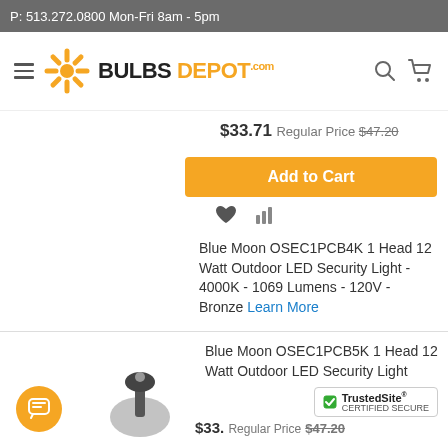P: 513.272.0800 Mon-Fri 8am - 5pm
[Figure (logo): BulbsDepot.com logo with orange starburst icon and hamburger menu, search and cart icons]
$33.71 Regular Price $47.20
Add to Cart
Blue Moon OSEC1PCB4K 1 Head 12 Watt Outdoor LED Security Light - 4000K - 1069 Lumens - 120V - Bronze Learn More
Blue Moon OSEC1PCB5K 1 Head 12 Watt Outdoor LED Security Light
$33. Regular Price $47.20